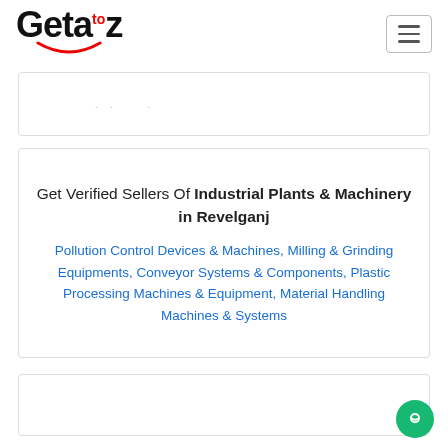Getaztoz - navigation header with logo and hamburger menu
Get Verified Sellers Of Industrial Plants & Machinery in Revelganj
Pollution Control Devices & Machines, Milling & Grinding Equipments, Conveyor Systems & Components, Plastic Processing Machines & Equipment, Material Handling Machines & Systems